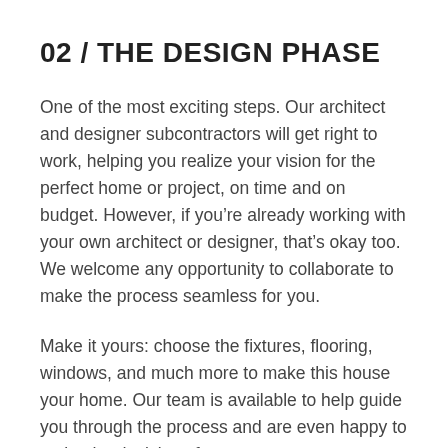02 / THE DESIGN PHASE
One of the most exciting steps. Our architect and designer subcontractors will get right to work, helping you realize your vision for the perfect home or project, on time and on budget. However, if you’re already working with your own architect or designer, that’s okay too. We welcome any opportunity to collaborate to make the process seamless for you.
Make it yours: choose the fixtures, flooring, windows, and much more to make this house your home. Our team is available to help guide you through the process and are even happy to make the decisions for you.